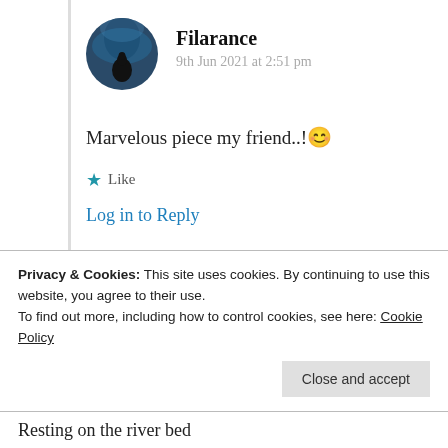[Figure (photo): Circular avatar with a silhouette figure against a blue-toned background]
Filarance
9th Jun 2021 at 2:51 pm
Marvelous piece my friend..!😊
★ Like
Log in to Reply
[Figure (photo): Circular avatar with dark teal/green night landscape]
Dhirendra.S.Chauhan
Privacy & Cookies: This site uses cookies. By continuing to use this website, you agree to their use.
To find out more, including how to control cookies, see here: Cookie Policy
Close and accept
Resting on the river bed